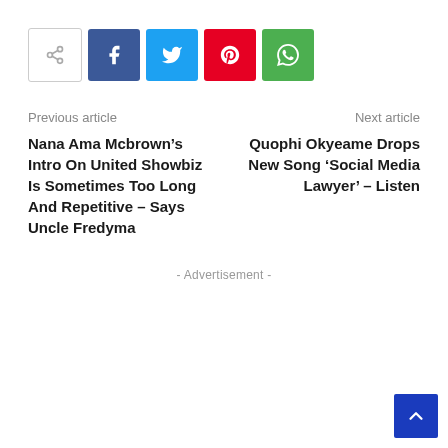[Figure (infographic): Social share bar with share icon button (outlined), Facebook (dark blue), Twitter (cyan), Pinterest (red), and WhatsApp (green) buttons]
Previous article
Nana Ama Mcbrown’s Intro On United Showbiz Is Sometimes Too Long And Repetitive – Says Uncle Fredyma
Next article
Quophi Okyeame Drops New Song ‘Social Media Lawyer’ – Listen
- Advertisement -
[Figure (infographic): Back to top button (blue square with white upward chevron arrow) in bottom right corner]